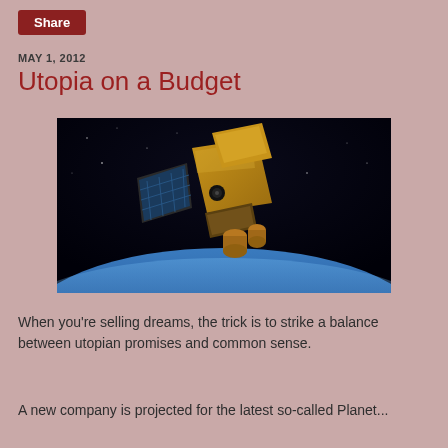Share
MAY 1, 2012
Utopia on a Budget
[Figure (photo): A satellite in orbit above Earth, golden metallic body with solar panels, dark space background with Earth's blue horizon curving below.]
When you're selling dreams, the trick is to strike a balance between utopian promises and common sense.
A new company is projected for the latest so-called Planet...